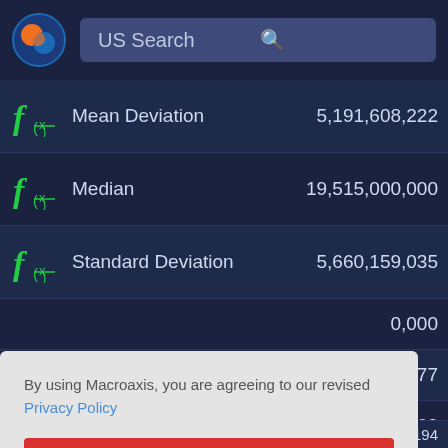[Figure (screenshot): Macroaxis app header with logo and US Search bar]
| Function | Metric | Value |
| --- | --- | --- |
| f(x) | Mean Deviation | 5,191,608,222 |
| f(x) | Median | 19,515,000,000 |
| f(x) | Standard Deviation | 5,660,159,035 |
| f(x) |  | 0,000 |
| f(x) |  | 0.77 |
| f(x) |  | 0.60 |
| f(x) | Significance | 0.00194 |
By using Macroaxis, you are agreeing to our revised Privacy Policy
OK